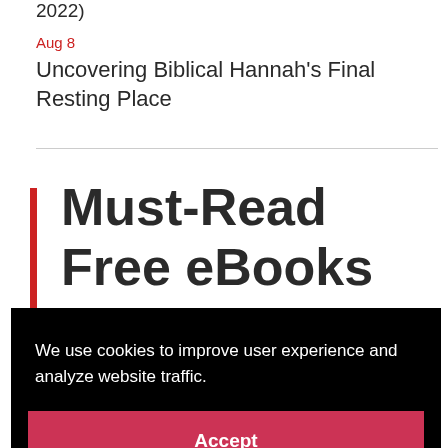2022)
Aug 8
Uncovering Biblical Hannah's Final Resting Place
Must-Read Free eBooks
We use cookies to improve user experience and analyze website traffic.
Accept